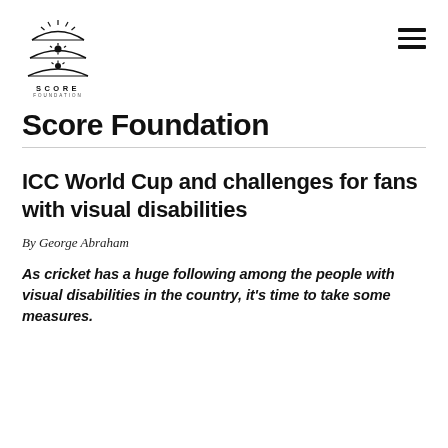[Figure (logo): Score Foundation logo with stylized sun and landscape icon, text SCORE FOUNDATION below]
Score Foundation
ICC World Cup and challenges for fans with visual disabilities
By George Abraham
As cricket has a huge following among the people with visual disabilities in the country, it's time to take some measures.